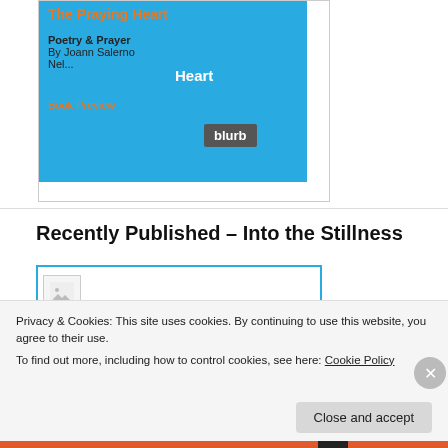[Figure (illustration): Book cover thumbnail for 'The Praying Heart' with blue background, orange title, blurb badge, and Heart/Book Preview overlays. Poetry & Prayer by Joann Salerno Nel...]
The Praying Heart
Poetry & Prayer
By Joann Salerno
Nel...
Book Preview
Recently Published – Into the Stillness
[Figure (illustration): Book cover thumbnail for 'Into the Stillness' with placeholder image icon and blue border card]
Into the Stillness
Privacy & Cookies: This site uses cookies. By continuing to use this website, you agree to their use.
To find out more, including how to control cookies, see here: Cookie Policy
Close and accept